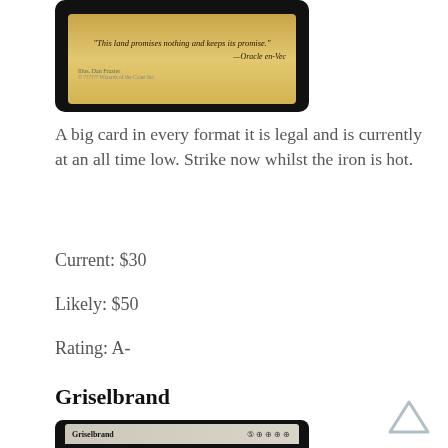[Figure (illustration): Top portion of a Magic: The Gathering card showing a golden flavour text box with italic quote and attribution to Oracle en-Vec, with illustrator credit]
A big card in every format it is legal and is currently at an all time low. Strike now whilst the iron is hot.
Current: $30
Likely: $50
Rating: A-
Griselbrand
[Figure (illustration): Magic: The Gathering card image for Griselbrand showing a dark demonic figure with wings against a blue-grey sky. Card name 'Griselbrand' and mana cost symbols visible in header.]